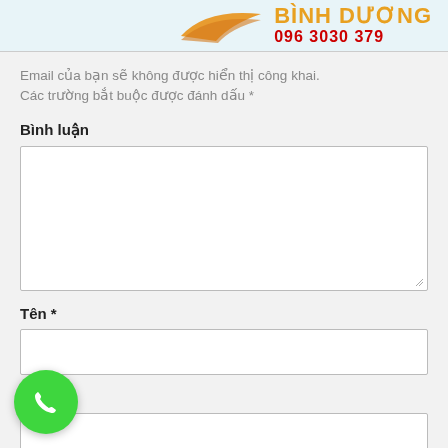[Figure (logo): Orange wing logo with brand name BINH DUONG and phone number 096 3030 379 in red]
Email của bạn sẽ không được hiển thị công khai. Các trường bắt buộc được đánh dấu *
Bình luận
[Figure (screenshot): Large textarea input box for comment]
Tên *
[Figure (screenshot): Single line text input box for name]
Email *
[Figure (screenshot): Single line text input box for email, partially visible]
[Figure (illustration): Green circular phone call button with white phone icon]